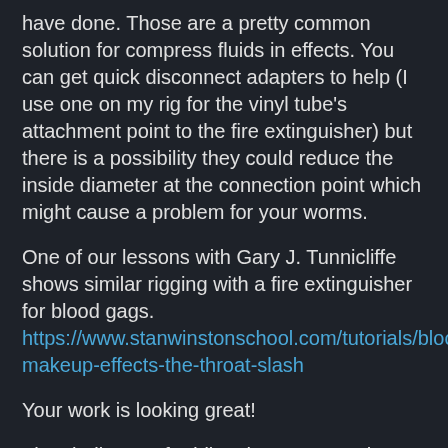have done. Those are a pretty common solution for compress fluids in effects. You can get quick disconnect adapters to help (I use one on my rig for the vinyl tube's attachment point to the fire extinguisher) but there is a possibility they could reduce the inside diameter at the connection point which might cause a problem for your worms.
One of our lessons with Gary J. Tunnicliffe shows similar rigging with a fire extinguisher for blood gags. https://www.stanwinstonschool.com/tutorials/blood-makeup-effects-the-throat-slash
Your work is looking great!
The challenge of adding the worms to the system partway through the gag is an interesting one. The easiest option I could think of would be to use a 2 way valve that splits the fluid output of the fire extinguisher between 2 tubes, one